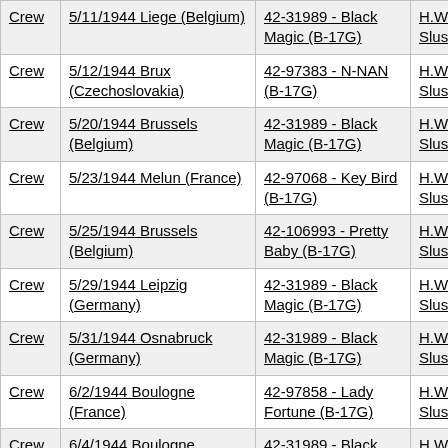|  | Mission | Aircraft | Pilot |
| --- | --- | --- | --- |
| Crew | 5/11/1944 Liege (Belgium) | 42-31989 - Black Magic (B-17G) | H.W. Slus |
| Crew | 5/12/1944 Brux (Czechoslovakia) | 42-97383 - N-NAN (B-17G) | H.W. Slus |
| Crew | 5/20/1944 Brussels (Belgium) | 42-31989 - Black Magic (B-17G) | H.W. Slus |
| Crew | 5/23/1944 Melun (France) | 42-97068 - Key Bird (B-17G) | H.W. Slus |
| Crew | 5/25/1944 Brussels (Belgium) | 42-106993 - Pretty Baby (B-17G) | H.W. Slus |
| Crew | 5/29/1944 Leipzig (Germany) | 42-31989 - Black Magic (B-17G) | H.W. Slus |
| Crew | 5/31/1944 Osnabruck (Germany) | 42-31989 - Black Magic (B-17G) | H.W. Slus |
| Crew | 6/2/1944 Boulogne (France) | 42-97858 - Lady Fortune (B-17G) | H.W. Slus |
| Crew | 6/4/1944 Boulogne (France) | 42-31989 - Black Magic (B-17G) | H.W. Slus |
| Crew | 6/6/1944 Normandy (France) | 42-97068 - Key Bird (B-17G) | H.W. Slus |